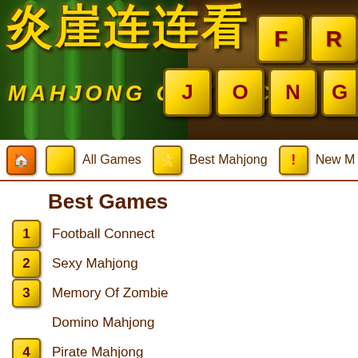[Figure (screenshot): Mahjong Connect game website header banner with Chinese characters, bamboo background, and game tile decorations showing FR/JONG letters]
MAHJONG CONNECT
All Games
Best Mahjong
New M
Best Games
1 Football Connect
2 Sexy Mahjong
3 Memory Of Zombie
3 Domino Mahjong
4 Pirate Mahjong
5 Child Mahjong
6 Super Mario Mahjong
7 Mahjongg